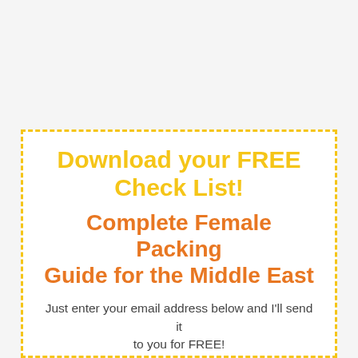Download your FREE Check List!
Complete Female Packing Guide for the Middle East
Just enter your email address below and I'll send it to you for FREE!
Email Address *